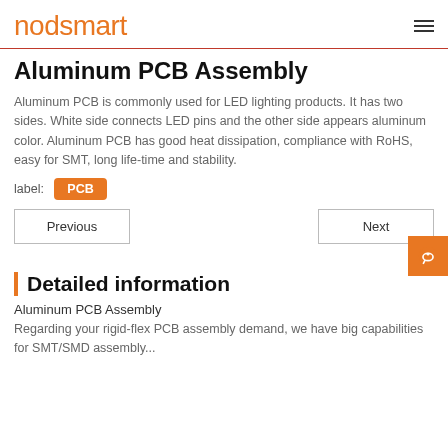nodsmart
Aluminum PCB Assembly
Aluminum PCB is commonly used for LED lighting products. It has two sides. White side connects LED pins and the other side appears aluminum color. Aluminum PCB has good heat dissipation, compliance with RoHS, easy for SMT, long life-time and stability.
label: PCB
Previous   Next
Detailed information
Aluminum PCB Assembly
Regarding your rigid-flex PCB assembly demand, we have big capabilities for SMT/SMD assembly...